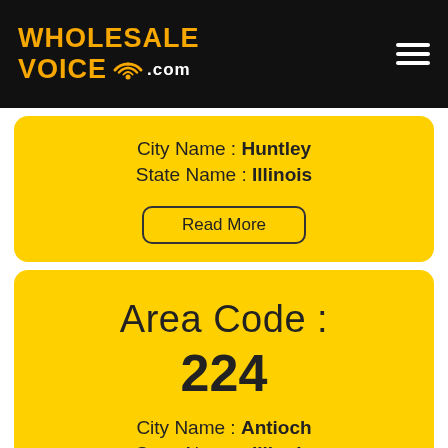[Figure (logo): Wholesale Voice .com logo with wifi icon, white hamburger menu icon on black header]
City Name : Huntley
State Name : Illinois
Read More
Area Code : 224
City Name : Antioch
State Name : Illinois
Read More